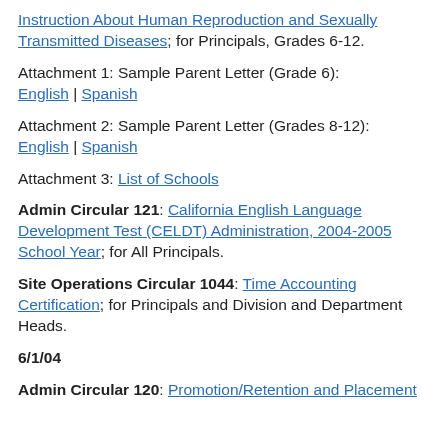Instruction About Human Reproduction and Sexually Transmitted Diseases; for Principals, Grades 6-12.
Attachment 1: Sample Parent Letter (Grade 6): English | Spanish
Attachment 2: Sample Parent Letter (Grades 8-12): English | Spanish
Attachment 3: List of Schools
Admin Circular 121: California English Language Development Test (CELDT) Administration, 2004-2005 School Year; for All Principals.
Site Operations Circular 1044: Time Accounting Certification; for Principals and Division and Department Heads.
6/1/04
Admin Circular 120: Promotion/Retention and Placement